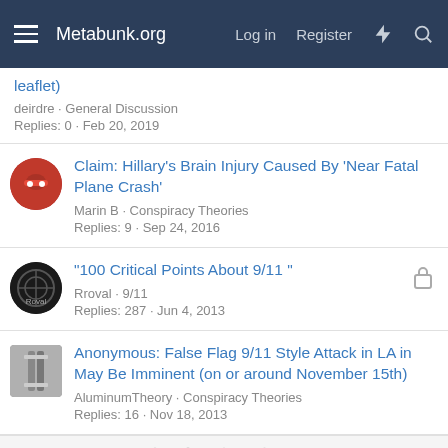Metabunk.org | Log in | Register
leaflet)
deirdre · General Discussion
Replies: 0 · Feb 20, 2019
Claim: Hillary's Brain Injury Caused By 'Near Fatal Plane Crash'
Marin B · Conspiracy Theories
Replies: 9 · Sep 24, 2016
"100 Critical Points About 9/11 "
Rroval · 9/11
Replies: 287 · Jun 4, 2013
Anonymous: False Flag 9/11 Style Attack in LA in May Be Imminent (on or around November 15th)
AluminumTheory · Conspiracy Theories
Replies: 16 · Nov 18, 2013
Social sharing icons